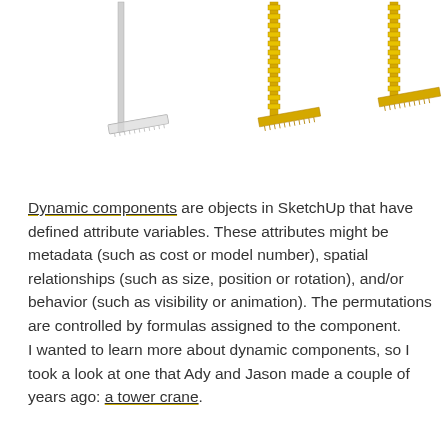[Figure (illustration): Three 3D rendered L-shaped angular components shown side by side: one in white/silver on the left, one in gold/yellow in the middle, and one in gold/yellow on the right. They appear to be SketchUp dynamic component examples resembling crane or bracket shapes, shown at the top of the page.]
Dynamic components are objects in SketchUp that have defined attribute variables. These attributes might be metadata (such as cost or model number), spatial relationships (such as size, position or rotation), and/or behavior (such as visibility or animation). The permutations are controlled by formulas assigned to the component.
I wanted to learn more about dynamic components, so I took a look at one that Ady and Jason made a couple of years ago: a tower crane.